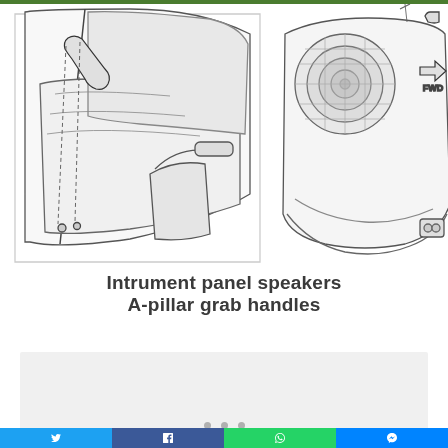[Figure (engineering-diagram): Two automotive engineering diagrams side by side: left shows A-pillar grab handle installation in a vehicle interior with line art; right shows instrument panel speaker assembly with a 'FWD' directional arrow indicator.]
Intrument panel speakers
A-pillar grab handles